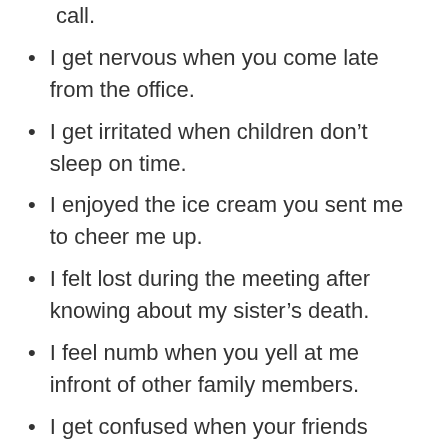call.
I get nervous when you come late from the office.
I get irritated when children don't sleep on time.
I enjoyed the ice cream you sent me to cheer me up.
I felt lost during the meeting after knowing about my sister's death.
I feel numb when you yell at me infront of other family members.
I get confused when your friends come to visit us unexpectedly.
I feel frustrated when you leave your